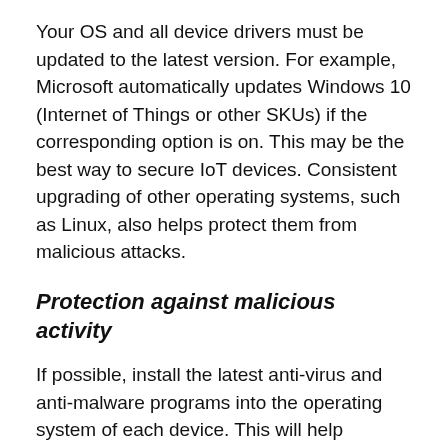Your OS and all device drivers must be updated to the latest version. For example, Microsoft automatically updates Windows 10 (Internet of Things or other SKUs) if the corresponding option is on. This may be the best way to secure IoT devices. Consistent upgrading of other operating systems, such as Linux, also helps protect them from malicious attacks.
Protection against malicious activity
If possible, install the latest anti-virus and anti-malware programs into the operating system of each device. This will help eliminate most of the external threats. Most modern OSs provide users with the opportunity to take timely and adequate measures and potential risks long before it even arises.